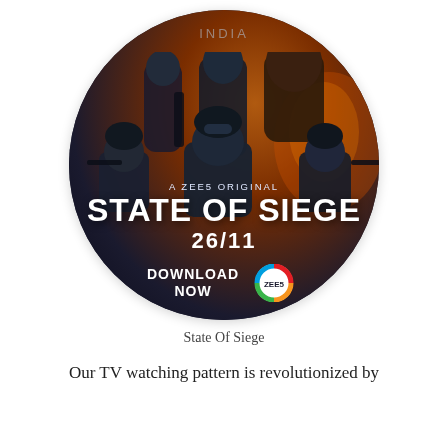[Figure (illustration): Oval/circular promotional image for ZEE5 Original web series 'State Of Siege 26/11'. Shows armed soldiers/commandos in tactical gear against a dark backdrop with fire and smoke effects. Text overlay includes 'INDIA', 'A ZEE5 ORIGINAL', 'STATE OF SIEGE', '26/11', 'DOWNLOAD NOW' and the ZEE5 logo.]
State Of Siege
Our TV watching pattern is revolutionized by